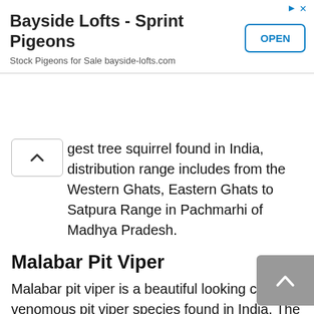[Figure (other): Advertisement banner: 'Bayside Lofts - Sprint Pigeons' with subtitle 'Stock Pigeons for Sale bayside-lofts.com' and an OPEN button]
gest tree squirrel found in India, distribution range includes from the Western Ghats, Eastern Ghats to Satpura Range in Pachmarhi of Madhya Pradesh.
Malabar Pit Viper
Malabar pit viper is a beautiful looking colorful venomous pit viper species found in India, The Pit viper is endemic to the Western Ghats and inhabits on the rocks present in stream beds from Maharashtra in Amboli hills, Castle Rock of Goa and in Malnad region of Karnataka.